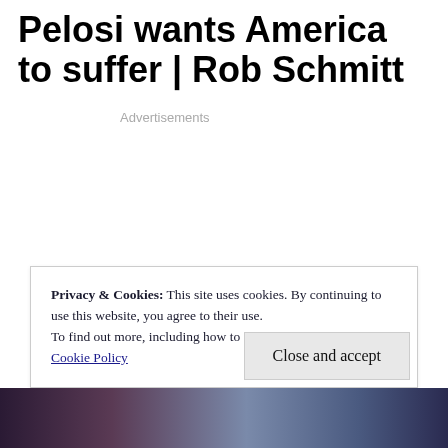Pelosi wants America to suffer | Rob Schmitt
Advertisements
Privacy & Cookies: This site uses cookies. By continuing to use this website, you agree to their use.
To find out more, including how to control cookies, see here:
Cookie Policy
[Figure (photo): Photo strip at the bottom showing faces of people, partially visible]